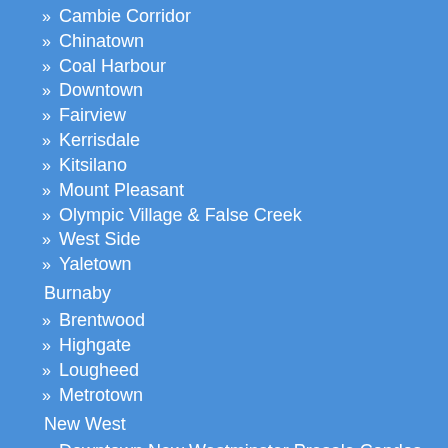Cambie Corridor
Chinatown
Coal Harbour
Downtown
Fairview
Kerrisdale
Kitsilano
Mount Pleasant
Olympic Village & False Creek
West Side
Yaletown
Burnaby
Brentwood
Highgate
Lougheed
Metrotown
New West
Downtown New Westminster Presale Condos
North Shore
Lonsdale
West Vancouver